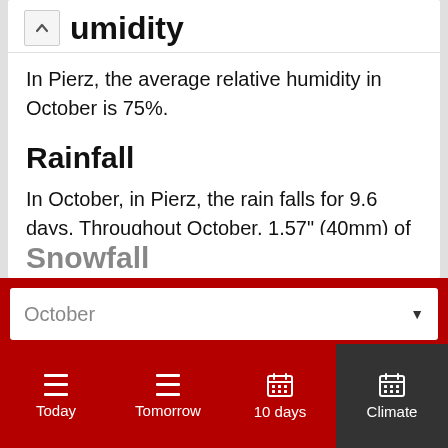humidity
In Pierz, the average relative humidity in October is 75%.
Rainfall
In October, in Pierz, the rain falls for 9.6 days. Throughout October, 1.57" (40mm) of precipitation is accumulated. Throughout the year, there are 109.2 rainfall days, and 17.64" (448mm) of precipitation is accumulated.
Snowfall
October (dropdown selector)
Today | Tomorrow | 10 days | Climate